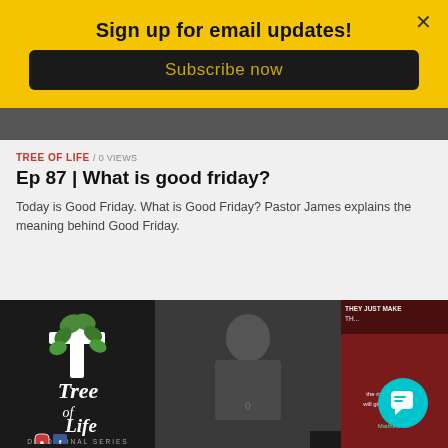Sign up for email updates!
Subscribe now
TREE OF LIFE / 0 VIEWS
Ep 87 | What is good friday?
Today is Good Friday. What is Good Friday? Pastor James explains the meaning behind Good Friday.
[Figure (screenshot): Bottom section showing three video thumbnails side by side: Tree of Life devotional series logo on dark background (left), person in dark polo shirt speaking (middle), text overlay with Bible verse (right). A chat popup overlay reads 'Got any questions? I'm happy to help.' with a circular logo icon.]
Got any questions? I'm happy to help.
*and he will give you